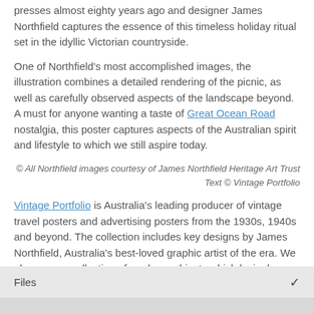presses almost eighty years ago and designer James Northfield captures the essence of this timeless holiday ritual set in the idyllic Victorian countryside.
One of Northfield's most accomplished images, the illustration combines a detailed rendering of the picnic, as well as carefully observed aspects of the landscape beyond. A must for anyone wanting a taste of Great Ocean Road nostalgia, this poster captures aspects of the Australian spirit and lifestyle to which we still aspire today.
© All Northfield images courtesy of James Northfield Heritage Art Trust
Text © Vintage Portfolio
Vintage Portfolio is Australia's leading producer of vintage travel posters and advertising posters from the 1930s, 1940s and beyond. The collection includes key designs by James Northfield, Australia's best-loved graphic artist of the era. We also carry a collection of modern subjects which lovingly revive the charm of 20th Century art and design.